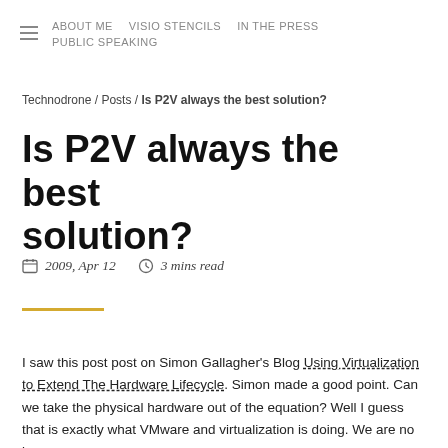ABOUT ME  VISIO STENCILS  IN THE PRESS  PUBLIC SPEAKING
Technodrone / Posts / Is P2V always the best solution?
Is P2V always the best solution?
2009, Apr 12   3 mins read
I saw this post post on Simon Gallagher's Blog Using Virtualization to Extend The Hardware Lifecycle. Simon made a good point. Can we take the physical hardware out of the equation? Well I guess that is exactly what VMware and virtualization is doing. We are no longer